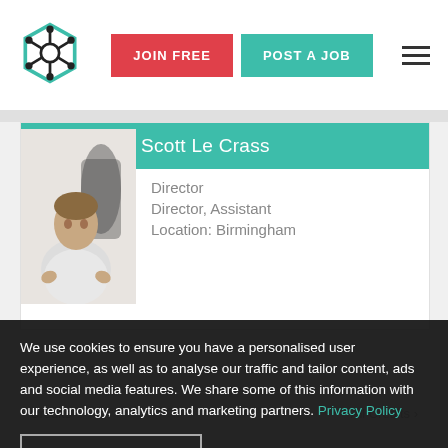[Figure (logo): Hexagonal network logo with teal and dark outlines]
JOIN FREE
POST A JOB
[Figure (photo): Profile photo of Scott Le Crass seated in office]
Scott Le Crass
Director
Director, Assistant
Location: Birmingham
We use cookies to ensure you have a personalised user experience, as well as to analyse our traffic and tailor content, ads and social media features. We share some of this information with our technology, analytics and marketing partners. Privacy Policy
ACCEPT COOKIES
Credits
All Credits